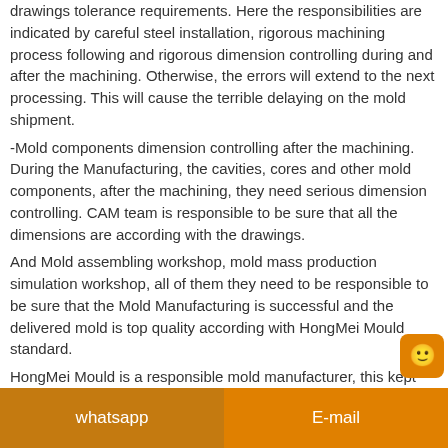drawings tolerance requirements. Here the responsibilities are indicated by careful steel installation, rigorous machining process following and rigorous dimension controlling during and after the machining. Otherwise, the errors will extend to the next processing. This will cause the terrible delaying on the mold shipment.
-Mold components dimension controlling after the machining. During the Manufacturing, the cavities, cores and other mold components, after the machining, they need serious dimension controlling. CAM team is responsible to be sure that all the dimensions are according with the drawings.
And Mold assembling workshop, mold mass production simulation workshop, all of them they need to be responsible to be sure that the Mold Manufacturing is successful and the delivered mold is top quality according with HongMei Mould standard.
HongMei Mould is a responsible mold manufacturer, this kept Hongmei Mould continues developing, and HongMei
whatsapp    E-mail